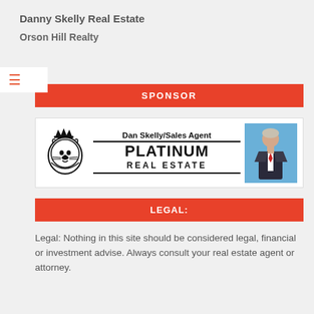Danny Skelly Real Estate
Orson Hill Realty
SPONSOR
[Figure (logo): Platinum Real Estate advertisement banner with lion logo on left, text 'Dan Skelly/Sales Agent PLATINUM REAL ESTATE' in center, and photo of agent on right]
LEGAL:
Legal: Nothing in this site should be considered legal, financial or investment advise. Always consult your real estate agent or attorney.